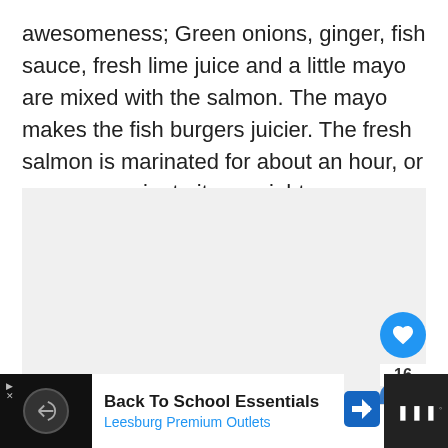awesomeness; Green onions, ginger, fish sauce, fresh lime juice and a little mayo are mixed with the salmon. The mayo makes the fish burgers juicier. The fresh salmon is marinated for about an hour, or you can marinate it overnight.
[Figure (photo): Light gray placeholder image area with social sharing buttons (heart/like button with count 16, share button) overlaid on the right side, and a What's Next card showing Chicken, Water... with a food thumbnail]
[Figure (screenshot): Advertisement bar at bottom: Back To School Essentials - Leesburg Premium Outlets, with navigation arrow icon and dark right panel]